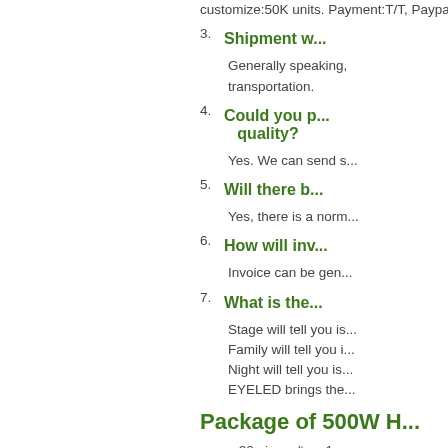customize:50K units. Payment:T/T, Paypal,Western Un...
3. Shipment w...
Generally speaking, transportation.
4. Could you p... quality?
Yes. We can send s...
5. Will there b...
Yes, there is a norm...
6. How will inv...
Invoice can be gen...
7. What is the...
Stage will tell you is...
Family will tell you i...
Night will tell you is...
EYELED brings the...
Package of 500W H...
20 pieces/tray,1...
Tray size:20cm...